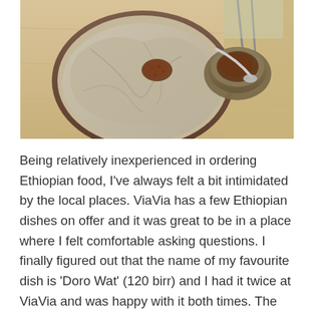[Figure (photo): A photograph of Ethiopian injera bread served on a round plate, with a small brown bowl containing a spiced condiment with a spoon, placed on a light wooden table.]
Being relatively inexperienced in ordering Ethiopian food, I've always felt a bit intimidated by the local places. ViaVia has a few Ethiopian dishes on offer and it was great to be in a place where I felt comfortable asking questions. I finally figured out that the name of my favourite dish is 'Doro Wat' (120 birr) and I had it twice at ViaVia and was happy with it both times. The serving is very big and there's always an offer of